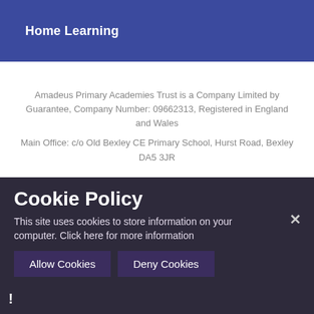Home Learning
Amadeus Primary Academies Trust is a Company Limited by Guarantee, Company Number: 09662313, Registered in England and Wales
Main Office: c/o Old Bexley CE Primary School, Hurst Road, Bexley DA5 3JR
HIGH VISIBILITY VERSION →
Cookie Policy
This site uses cookies to store information on your computer. Click here for more information
Allow Cookies   Deny Cookies